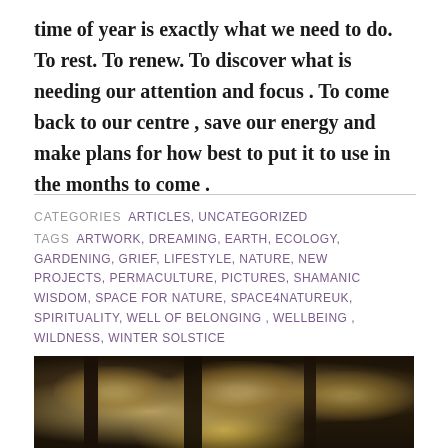time of year is exactly what we need to do. To rest. To renew. To discover what is needing our attention and focus . To come back to our centre , save our energy and make plans for how best to put it to use in the months to come .
CATEGORIES  ARTICLES, UNCATEGORIZED
TAGS  ARTWORK, DREAMING, EARTH, ECOLOGY, GARDENING, GRIEF, LIFESTYLE, NATURE, NEW PROJECTS, PERMACULTURE, PICTURES, SHAMANIC WISDOM, SPACE FOR NATURE, SPACE4NATUREUK, SPIRITUALITY, WELL OF BELONGING, WELLBEING, WILDNESS, WINTER SOLSTICE
[Figure (photo): Dark atmospheric photograph of trees with golden foliage against a dark background, suggesting a winter woodland scene]